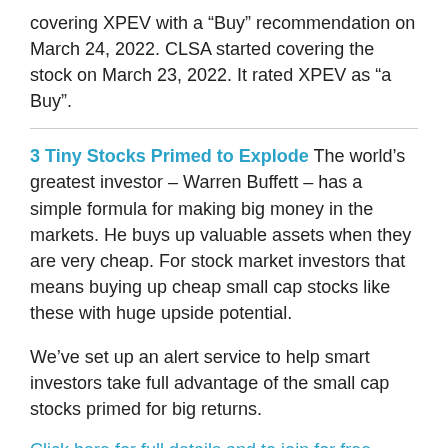covering XPEV with a “Buy” recommendation on March 24, 2022. CLSA started covering the stock on March 23, 2022. It rated XPEV as “a Buy”.
3 Tiny Stocks Primed to Explode The world’s greatest investor – Warren Buffett – has a simple formula for making big money in the markets. He buys up valuable assets when they are very cheap. For stock market investors that means buying up cheap small cap stocks like these with huge upside potential.
We’ve set up an alert service to help smart investors take full advantage of the small cap stocks primed for big returns.
Click here for full details and to join for free.
Sponsored